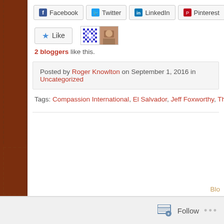[Figure (screenshot): Social share buttons row: Facebook, Twitter, LinkedIn, Pinterest, Print (partially visible)]
[Figure (screenshot): Like button with star icon, followed by two blogger avatars (pixel art and photo)]
2 bloggers like this.
Posted by Roger Knowlton on September 1, 2016 in Uncategorized
Tags: Compassion International, El Salvador, Jeff Foxworthy, The local church is the h...
Blog
Follow ...